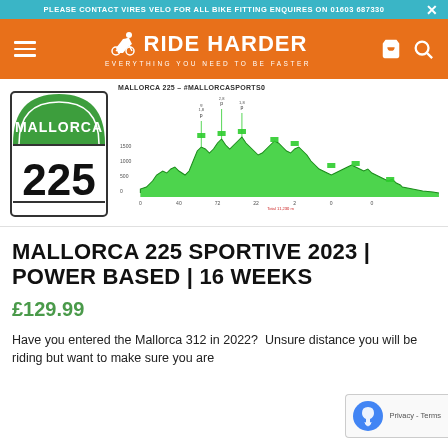PLEASE CONTACT VIRES VELO FOR ALL BIKE FITTING ENQUIRES ON 01603 687330
[Figure (logo): Ride Harder logo with cyclist icon, orange background, tagline: EVERYTHING YOU NEED TO BE FASTER]
[Figure (other): Mallorca 225 event badge (green arch with white MALLORCA text and large 225 number) and route elevation profile chart labeled MALLORCA 225 - #MALLORCASPORTS0]
MALLORCA 225 SPORTIVE 2023 | POWER BASED | 16 WEEKS
£129.99
Have you entered the Mallorca 312 in 2022?  Unsure distance you will be riding but want to make sure you are